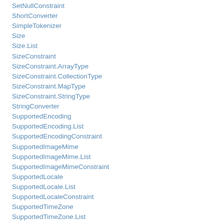SetNullConstraint
ShortConverter
SimpleTokenizer
Size
Size.List
SizeConstraint
SizeConstraint.ArrayType
SizeConstraint.CollectionType
SizeConstraint.MapType
SizeConstraint.StringType
StringConverter
SupportedEncoding
SupportedEncoding.List
SupportedEncodingConstraint
SupportedImageMime
SupportedImageMime.List
SupportedImageMimeConstraint
SupportedLocale
SupportedLocale.List
SupportedLocaleConstraint
SupportedTimeZone
SupportedTimeZone.List
SupportedTimeZoneConstraint
Sysdate
Sysdate.List
SysdateConstraint
TimeZoneConverter
TokenDelimiters